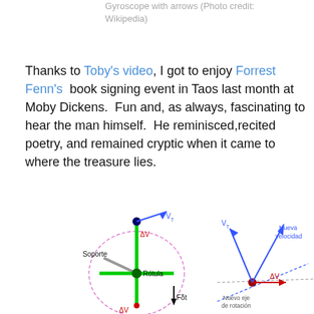Gyroscope with arrows (Photo credit: Wikipedia)
Thanks to Toby's video, I got to enjoy Forrest Fenn's book signing event in Taos last month at Moby Dickens. Fun and, as always, fascinating to hear the man himself. He reminisced,recited poetry, and remained cryptic when it came to where the treasure lies.
[Figure (illustration): Two vector diagrams showing gyroscope precession. Left diagram: a gyroscope with green spin axis, blue velocity vector V_T, red delta-V arrow, magenta precession circle, labeled Soporte (support) and Rótula (pivot), with force F·delta-t shown downward. Right diagram: shows V_T, Nueva velocidad (new velocity), Nuevo eje de rotación (new rotation axis), and delta-V arrow at the pivot point.]